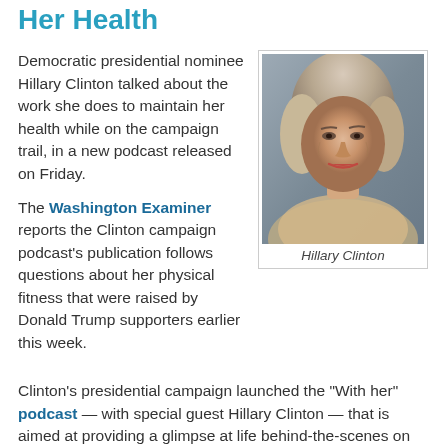Her Health
Democratic presidential nominee Hillary Clinton talked about the work she does to maintain her health while on the campaign trail, in a new podcast released on Friday.
The Washington Examiner reports the Clinton campaign podcast's publication follows questions about her physical fitness that were raised by Donald Trump supporters earlier this week.
[Figure (photo): Portrait photo of Hillary Clinton, a woman with blonde/gray hair]
Hillary Clinton
Clinton's presidential campaign launched the "With her" podcast — with special guest Hillary Clinton — that is aimed at providing a glimpse at life behind-the-scenes on the campaign trail. In an interview with host Max Linsky, Clinton talked about how worn out she felt after last month's conventions and the subsequent bus tour.